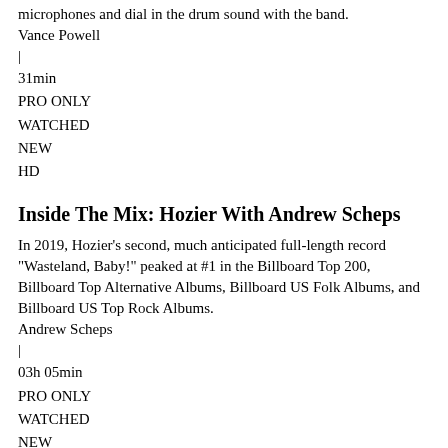microphones and dial in the drum sound with the band.
Vance Powell
|
31min
PRO ONLY
WATCHED
NEW
HD
Inside The Mix: Hozier With Andrew Scheps
In 2019, Hozier's second, much anticipated full-length record "Wasteland, Baby!" peaked at #1 in the Billboard Top 200, Billboard Top Alternative Albums, Billboard US Folk Albums, and Billboard US Top Rock Albums.
Andrew Scheps
|
03h 05min
PRO ONLY
WATCHED
NEW
HD
Rich Keller Mixing Jared Evan Tidal Wave